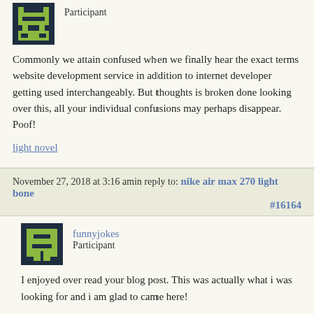[Figure (illustration): Pixel art avatar in dark navy and yellow-green colors]
Participant
Commonly we attain confused when we finally hear the exact terms website development service in addition to internet developer getting used interchangeably. But thoughts is broken done looking over this, all your individual confusions may perhaps disappear. Poof!
light novel
November 27, 2018 at 3:16 amin reply to: nike air max 270 light bone #16164
[Figure (illustration): Pixel art avatar in dark navy and yellow-green colors for funnyjokes user]
funnyjokes
Participant
I enjoyed over read your blog post. This was actually what i was looking for and i am glad to came here!